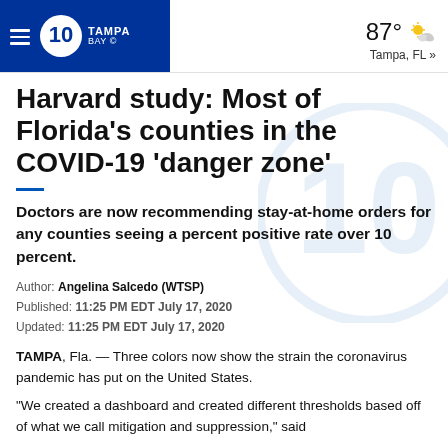10 Tampa Bay | 87° Tampa, FL »
Harvard study: Most of Florida's counties in the COVID-19 'danger zone'
Doctors are now recommending stay-at-home orders for any counties seeing a percent positive rate over 10 percent.
Author: Angelina Salcedo (WTSP)
Published: 11:25 PM EDT July 17, 2020
Updated: 11:25 PM EDT July 17, 2020
TAMPA, Fla. — Three colors now show the strain the coronavirus pandemic has put on the United States.
"We created a dashboard and created different thresholds based off of what we call mitigation and suppression," said